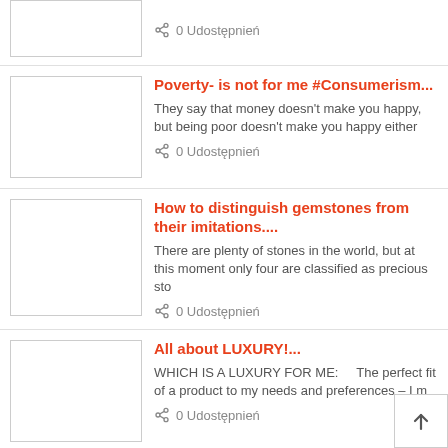0 Udostępnień (partial top item)
Poverty- is not for me #Consumerism... They say that money doesn't make you happy, but being poor doesn't make you happy either. 0 Udostępnień
How to distinguish gemstones from their imitations.... There are plenty of stones in the world, but at this moment only four are classified as precious sto. 0 Udostępnień
All about LUXURY!... WHICH IS A LUXURY FOR ME:    The perfect fit of a product to my needs and preferences – I m. 0 Udostępnień
Savoir-vivre behind the wheel – how should a gentleman behave on the road?... A gentleman doesn't just happen to be a gentleman, a